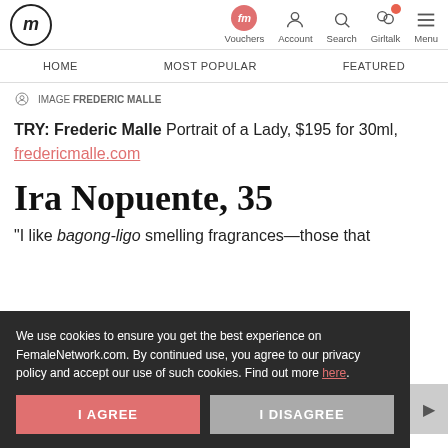fm | Vouchers | Account | Search | Girltalk | Menu
HOME | MOST POPULAR | FEATURED
IMAGE FREDERIC MALLE
TRY: Frederic Malle Portrait of a Lady, $195 for 30ml, fredericmalle.com
Ira Nopuente, 35
"I like bagong-ligo smelling fragrances—those that
We use cookies to ensure you get the best experience on FemaleNetwork.com. By continued use, you agree to our privacy policy and accept our use of such cookies. Find out more here.
I AGREE
I DISAGREE